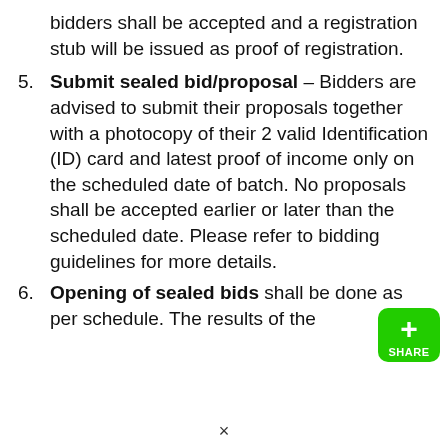bidders shall be accepted and a registration stub will be issued as proof of registration.
Submit sealed bid/proposal – Bidders are advised to submit their proposals together with a photocopy of their 2 valid Identification (ID) card and latest proof of income only on the scheduled date of batch. No proposals shall be accepted earlier or later than the scheduled date. Please refer to bidding guidelines for more details.
Opening of sealed bids shall be done as per schedule. The results of the